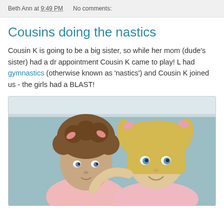Beth Ann at 9:49 PM   No comments:
Cousins doing the nastics
Cousin K is going to be a big sister, so while her mom (dude's sister) had a dr appointment Cousin K came to play! L had gymnastics (otherwise known as 'nastics') and Cousin K joined us - the girls had a BLAST!
[Figure (photo): Two young girls in pink tops posing together; the girl on the left has curly brown hair with pink bows, the girl on the right has straight blonde hair in pigtails with pink bows]